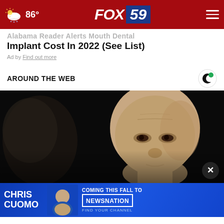86° FOX 59
Implant Cost In 2022 (See List)
Ad by Find out more
AROUND THE WEB
[Figure (photo): Close-up photograph of a bald man's face against a dark background]
[Figure (photo): Chris Cuomo Coming This Fall to NewsNation advertisement banner with anchor photo]